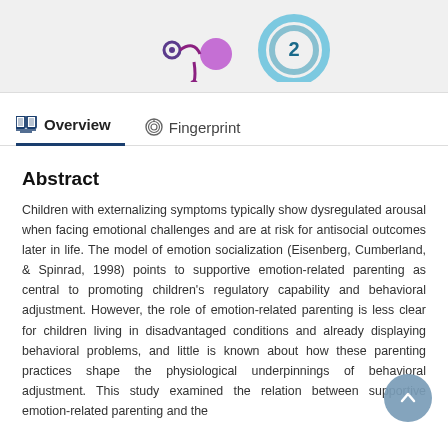[Figure (other): Top banner with academic/social media metric icons — a purple metrics icon and a blue circular icon with number 2]
Overview   Fingerprint
Abstract
Children with externalizing symptoms typically show dysregulated arousal when facing emotional challenges and are at risk for antisocial outcomes later in life. The model of emotion socialization (Eisenberg, Cumberland, & Spinrad, 1998) points to supportive emotion-related parenting as central to promoting children's regulatory capability and behavioral adjustment. However, the role of emotion-related parenting is less clear for children living in disadvantaged conditions and already displaying behavioral problems, and little is known about how these parenting practices shape the physiological underpinnings of behavioral adjustment. This study examined the relation between supportive emotion-related parenting and the